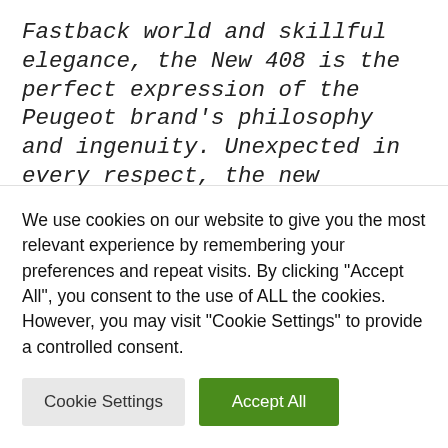Fastback world and skillful elegance, the New 408 is the perfect expression of the Peugeot brand's philosophy and ingenuity. Unexpected in every respect, the new Peugeot 408 is designed for lovers of cars and life, who want to break free from traditional patterns and are looking for responsible pleasure. It embraces all of Peugeot's technological needs – great effici...
We use cookies on our website to give you the most relevant experience by remembering your preferences and repeat visits. By clicking "Accept All", you consent to the use of ALL the cookies. However, you may visit "Cookie Settings" to provide a controlled consent.